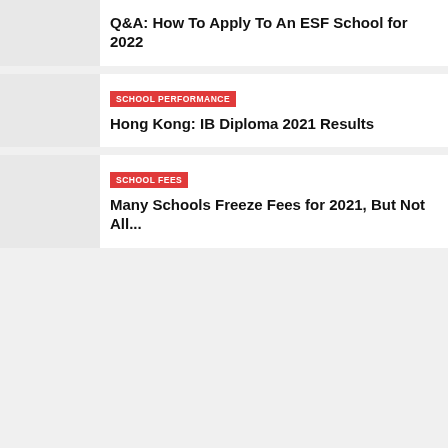Q&A: How To Apply To An ESF School for 2022
SCHOOL PERFORMANCE
Hong Kong: IB Diploma 2021 Results
SCHOOL FEES
Many Schools Freeze Fees for 2021, But Not All...